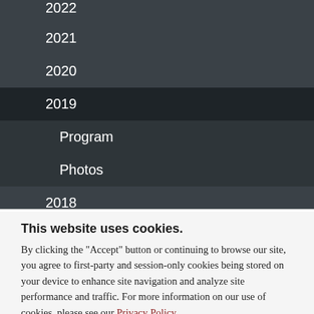2022 (partial, top)
2021
2020
2019 (active/selected)
Program
Photos
2018
This website uses cookies.
By clicking the "Accept" button or continuing to browse our site, you agree to first-party and session-only cookies being stored on your device to enhance site navigation and analyze site performance and traffic. For more information on our use of cookies, please see our Privacy Policy.